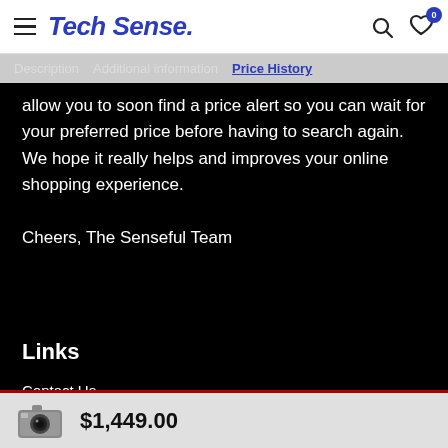Tech Sense.
Description   Additional information   Price History
allow you to soon find a price alert so you can wait for your preferred price before having to search again.  We hope it really helps and improves your online shopping experience.

Cheers, The Senseful Team
Links
Contact Us
Privacy Policy
Looking for Appliances?
$1,449.00